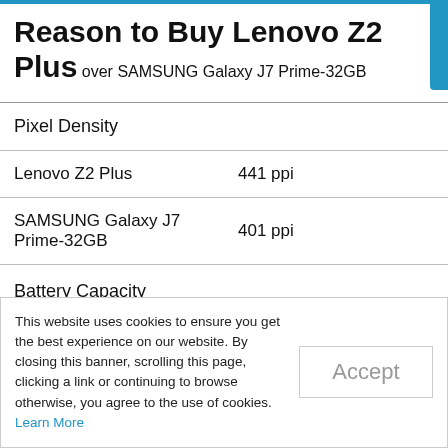Reason to Buy Lenovo Z2 Plus over SAMSUNG Galaxy J7 Prime-32GB
|  |  |
| --- | --- |
| Pixel Density |  |
| Lenovo Z2 Plus | 441 ppi |
| SAMSUNG Galaxy J7 Prime-32GB | 401 ppi |
| Battery Capacity |  |
This website uses cookies to ensure you get the best experience on our website. By closing this banner, scrolling this page, clicking a link or continuing to browse otherwise, you agree to the use of cookies. Learn More